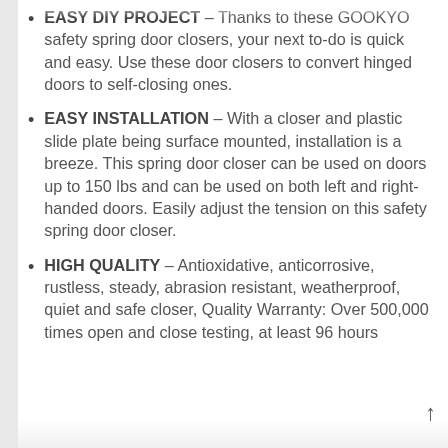EASY DIY PROJECT – Thanks to these GOOKYO safety spring door closers, your next to-do is quick and easy. Use these door closers to convert hinged doors to self-closing ones.
EASY INSTALLATION – With a closer and plastic slide plate being surface mounted, installation is a breeze. This spring door closer can be used on doors up to 150 lbs and can be used on both left and right-handed doors. Easily adjust the tension on this safety spring door closer.
HIGH QUALITY – Antioxidative, anticorrosive, rustless, steady, abrasion resistant, weatherproof, quiet and safe closer, Quality Warranty: Over 500,000 times open and close testing, at least 96 hours salt spray corrosion test, 100% inspection...